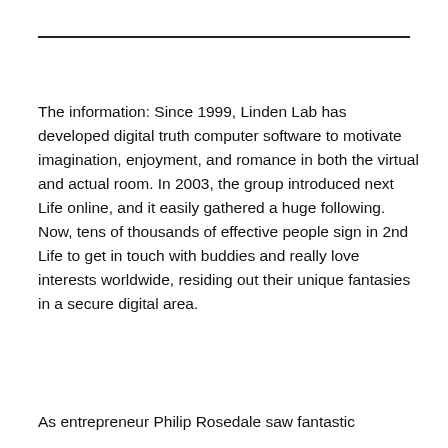The information: Since 1999, Linden Lab has developed digital truth computer software to motivate imagination, enjoyment, and romance in both the virtual and actual room. In 2003, the group introduced next Life online, and it easily gathered a huge following. Now, tens of thousands of effective people sign in 2nd Life to get in touch with buddies and really love interests worldwide, residing out their unique fantasies in a secure digital area.
As entrepreneur Philip Rosedale saw fantastic